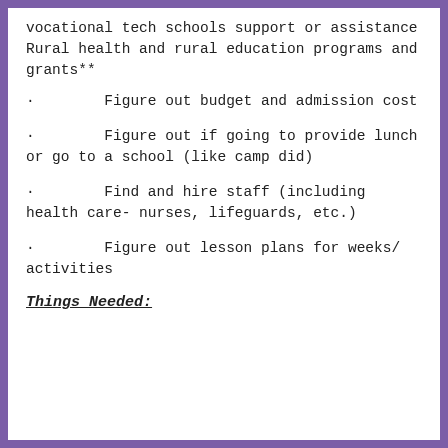vocational tech schools support or assistance Rural health and rural education programs and grants**
· Figure out budget and admission cost
· Figure out if going to provide lunch or go to a school (like camp did)
· Find and hire staff (including health care- nurses, lifeguards, etc.)
· Figure out lesson plans for weeks/ activities
Things Needed: